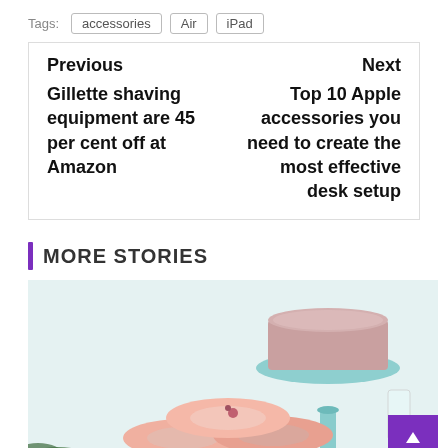Tags: accessories Air iPad
Previous
Gillette shaving equipment are 45 per cent off at Amazon
Next
Top 10 Apple accessories you need to create the most effective desk setup
MORE STORIES
[Figure (photo): Photo of pink glazed donuts stacked on a white plate, with a pink frosted cake on a mint green cake stand in the background, against a light blue-white background]